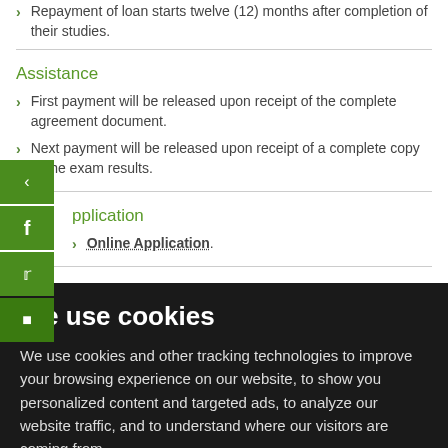Repayment of loan starts twelve (12) months after completion of their studies.
Assistance
First payment will be released upon receipt of the complete agreement document.
Next payment will be released upon receipt of a complete copy of the exam results.
Application
Online Application.
We use cookies
We use cookies and other tracking technologies to improve your browsing experience on our website, to show you personalized content and targeted ads, to analyze our website traffic, and to understand where our visitors are coming from.